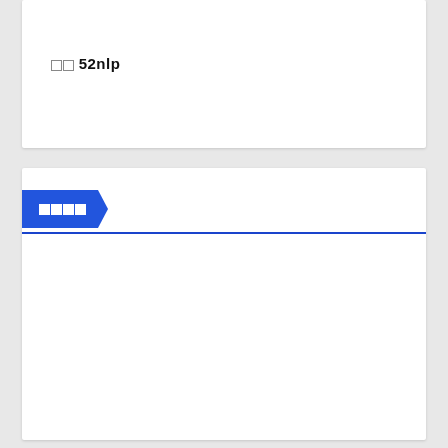□□ 52nlp
□□□□
[Figure (screenshot): Dark article card with tags: AINLP, □□□□, □□□□, □□□□, □□□□□□; article title in Chinese (tofu boxes); date 2□ 5, 2022; author 52NLP]
AINLP □□□□ □□□□ □□□□ □□□□□□
□□□□□□□□□□□□□□□□□□□□□□□□□□□□□□□□□□□□□
2□ 5, 2022   52NLP